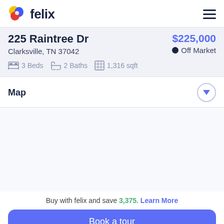felix
225 Raintree Dr
Clarksville, TN 37042
$225,000  Off Market
3 Beds  2 Baths  1,316 sqft
Map
[Figure (map): Blank map area placeholder]
Buy with felix and save 3,375. Learn More
Book a tour